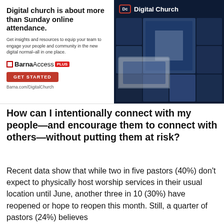[Figure (infographic): Barna Digital Church advertisement banner. Left side: bold headline 'Digital church is about more than Sunday online attendance.' with body text 'Get insights and resources to equip your team to engage your people and community in the new digital normal–all in one place.' Below: Barna Access PLUS logo, red GET STARTED button, and Barna.com/DigitalChurch URL. Right side: dark navy background with 'Dc Digital Church' logo and collage of video/media thumbnails.]
How can I intentionally connect with my people—and encourage them to connect with others—without putting them at risk?
Recent data show that while two in five pastors (40%) don't expect to physically host worship services in their usual location until June, another three in 10 (30%) have reopened or hope to reopen this month. Still, a quarter of pastors (24%) believes